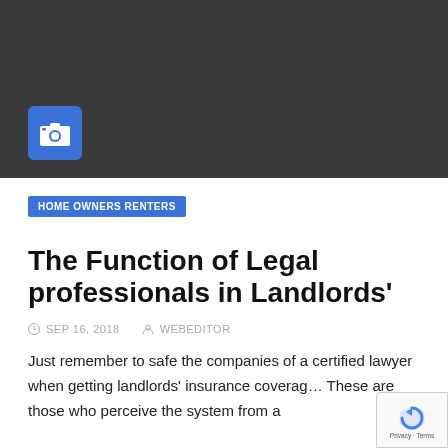[Figure (photo): Dark gray hero image placeholder with a blue camera icon in the lower-left corner]
HOME OWNERS RENTERS
The Function of Legal professionals in Landlords'
SEP 16, 2018   WEBEDITOR
Just remember to safe the companies of a certified lawyer when getting landlords' insurance coverage. These are those who perceive the system from a